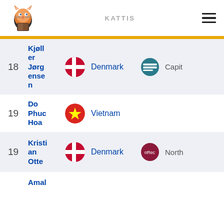[Figure (logo): Kattis mascot logo - cartoon fox/cat with a book]
KATTIS
| Rank | Name | Flag | Country | Org | OrgName |
| --- | --- | --- | --- | --- | --- |
| 18 | Kjøller Jørgensen | Denmark | Denmark |  | Capit... |
| 19 | Do Phuc Hoa | Vietnam | Vietnam |  |  |
| 19 | Kristian Otte | Denmark | Denmark |  | North... |
|  | Amal... |  |  |  |  |